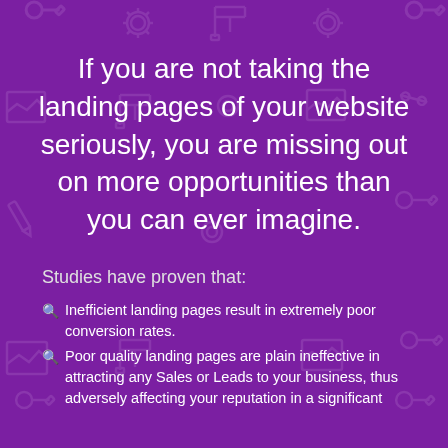[Figure (illustration): Dark purple background with faint outline icons of tools, settings gears, charts, cranes, search icons arranged in a repeating pattern]
If you are not taking the landing pages of your website seriously, you are missing out on more opportunities than you can ever imagine.
Studies have proven that:
Inefficient landing pages result in extremely poor conversion rates.
Poor quality landing pages are plain ineffective in attracting any Sales or Leads to your business, thus adversely affecting your reputation in a significant